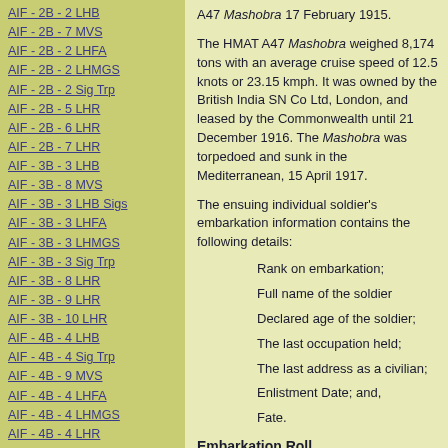AIF - 2B - 2 LHB
AIF - 2B - 7 MVS
AIF - 2B - 2 LHFA
AIF - 2B - 2 LHMGS
AIF - 2B - 2 Sig Trp
AIF - 2B - 5 LHR
AIF - 2B - 6 LHR
AIF - 2B - 7 LHR
AIF - 3B - 3 LHB
AIF - 3B - 8 MVS
AIF - 3B - 3 LHB Sigs
AIF - 3B - 3 LHFA
AIF - 3B - 3 LHMGS
AIF - 3B - 3 Sig Trp
AIF - 3B - 8 LHR
AIF - 3B - 9 LHR
AIF - 3B - 10 LHR
AIF - 4B - 4 LHB
AIF - 4B - 4 Sig Trp
AIF - 4B - 9 MVS
AIF - 4B - 4 LHFA
AIF - 4B - 4 LHMGS
AIF - 4B - 4 LHR
AIF - 4B - 11 LHR
AIF - 4B - 12 LHR
AIF - 5B - 5 LHB
AIF - 5B - 10 MVS
AIF - 5B - 5 LHFA
A47 Mashobra 17 February 1915.
The HMAT A47 Mashobra weighed 8,174 tons with an average cruise speed of 12.5 knots or 23.15 kmph. It was owned by the British India SN Co Ltd, London, and leased by the Commonwealth until 21 December 1916. The Mashobra was torpedoed and sunk in the Mediterranean, 15 April 1917.
The ensuing individual soldier's embarkation information contains the following details:
Rank on embarkation;
Full name of the soldier
Declared age of the soldier;
The last occupation held;
The last address as a civilian;
Enlistment Date; and,
Fate.
Embarkation Roll